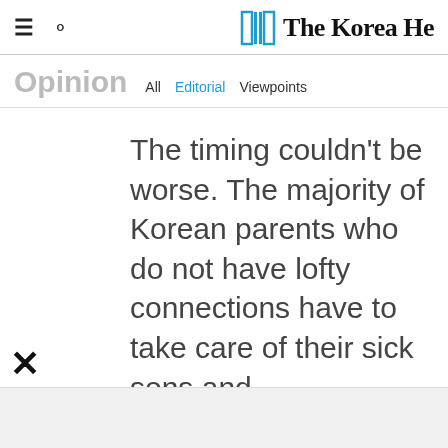The Korea Herald — Opinion navigation header
Opinion  All  Editorial  Viewpoints
The timing couldn't be worse. The majority of Korean parents who do not have lofty connections have to take care of their sick sons and